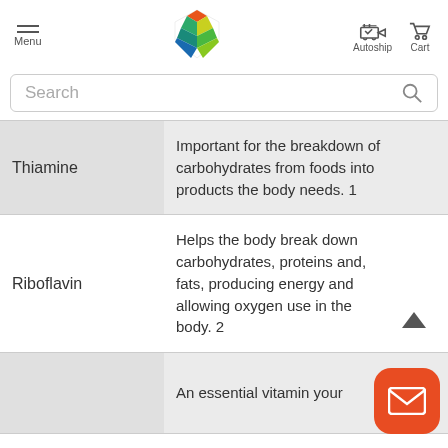[Figure (logo): Colorful geometric logo (orange, green, teal stripes forming a shield/diamond shape) centered in header]
Menu  [Logo]  Autoship  Cart
Search
|  |  |
| --- | --- |
| Thiamine | Important for the breakdown of carbohydrates from foods into products the body needs. 1 |
| Riboflavin | Helps the body break down carbohydrates, proteins and, fats, producing energy and allowing oxygen use in the body. 2 |
|  | An essential vitamin your... |